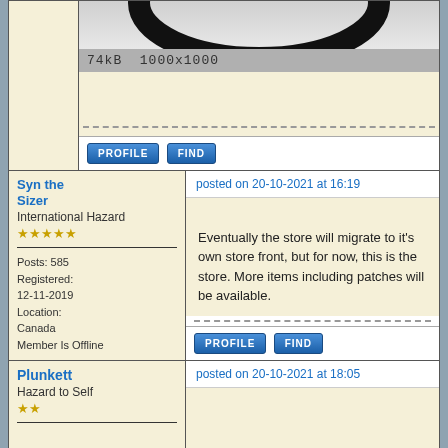[Figure (photo): Partial view of a black ring/gasket on light gray background, labeled 74kB 1000x1000]
74kB  1000x1000
PROFILE   FIND
Syn the Sizer
International Hazard
★★★★★
Posts: 585
Registered: 12-11-2019
Location: Canada
Member Is Offline
posted on 20-10-2021 at 16:19
Eventually the store will migrate to it's own store front, but for now, this is the store. More items including patches will be available.
PROFILE   FIND
Plunkett
Hazard to Self
★★
posted on 20-10-2021 at 18:05